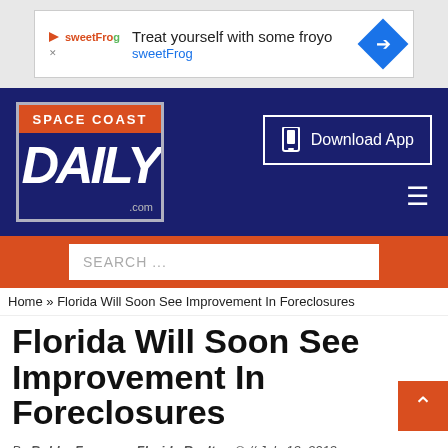[Figure (screenshot): SweetFrog advertisement banner: 'Treat yourself with some froyo sweetFrog' with logo and directional arrow icon]
[Figure (logo): Space Coast Daily .com logo in navy and red on white background]
Download App
SEARCH ...
Home » Florida Will Soon See Improvement In Foreclosures
Florida Will Soon See Improvement In Foreclosures
By Bobby Freeman, Florida Realtors® // July 13, 2013